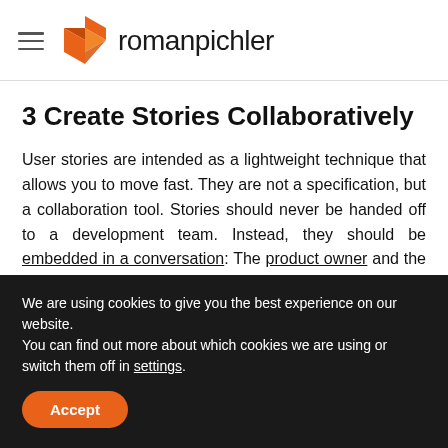romanpichler
3 Create Stories Collaboratively
User stories are intended as a lightweight technique that allows you to move fast. They are not a specification, but a collaboration tool. Stories should never be handed off to a development team. Instead, they should be embedded in a conversation: The product owner and the team
We are using cookies to give you the best experience on our website.
You can find out more about which cookies we are using or switch them off in settings.